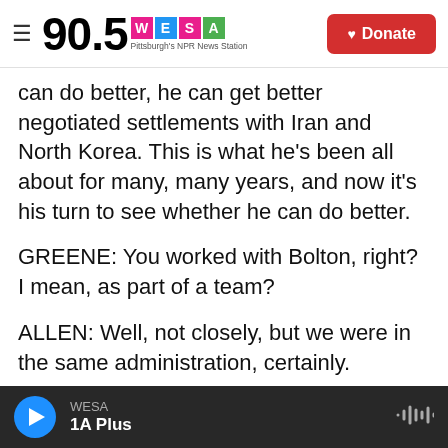90.5 WESA Pittsburgh's NPR News Station | Donate
can do better, he can get better negotiated settlements with Iran and North Korea. This is what he's been all about for many, many years, and now it's his turn to see whether he can do better.
GREENE: You worked with Bolton, right? I mean, as part of a team?
ALLEN: Well, not closely, but we were in the same administration, certainly.
GREENE: A lot of people are terrified of him in this role and look at his views on North Korea - as you said, I mean, he's written an op-ed recently making
WESA | 1A Plus